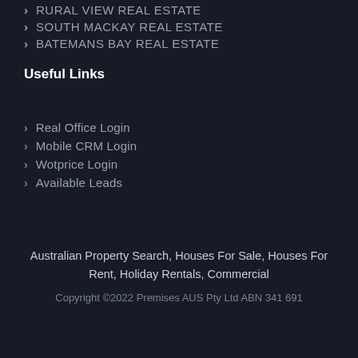RURAL VIEW REAL ESTATE
SOUTH MACKAY REAL ESTATE
BATEMANS BAY REAL ESTATE
Useful Links
Real Office Login
Mobile CRM Login
Wotprice Login
Available Leads
Australian Property Search, Houses For Sale, Houses For Rent, Holiday Rentals, Commercial
Copyright ©2022 Premises AUS Pty Ltd ABN 341 691